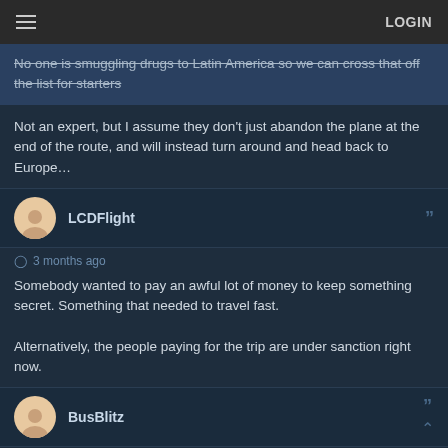LOGIN
No one is smuggling drugs to Latin America so we can cross that off the list for starters
Not an expert, but I assume they don't just abandon the plane at the end of the route, and will instead turn around and head back to Europe…
LCDFlight
3 months ago
Somebody wanted to pay an awful lot of money to keep something secret. Something that needed to travel fast.

Alternatively, the people paying for the trip are under sanction right now.
BusBlitz
3 months ago
It's now on its way to Casablanca. What does this mean?